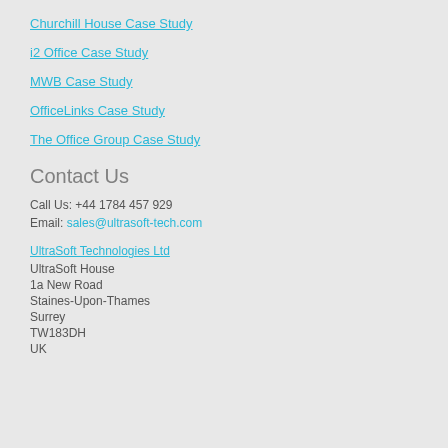Churchill House Case Study
i2 Office Case Study
MWB Case Study
OfficeLinks Case Study
The Office Group Case Study
Contact Us
Call Us: +44 1784 457 929
Email: sales@ultrasoft-tech.com
UltraSoft Technologies Ltd
UltraSoft House
1a New Road
Staines-Upon-Thames
Surrey
TW183DH
UK